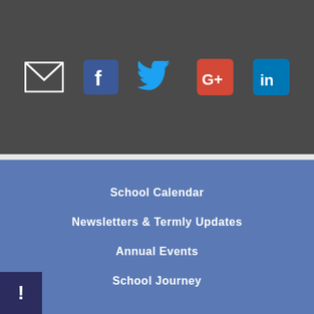[Figure (infographic): Social media icons row on dark gray background: email envelope (white outline), Facebook (blue square), Twitter bird (blue), Google+ (red/orange square with G+), LinkedIn (blue square with 'in')]
School Calendar
Newsletters & Termly Updates
Annual Events
School Journey